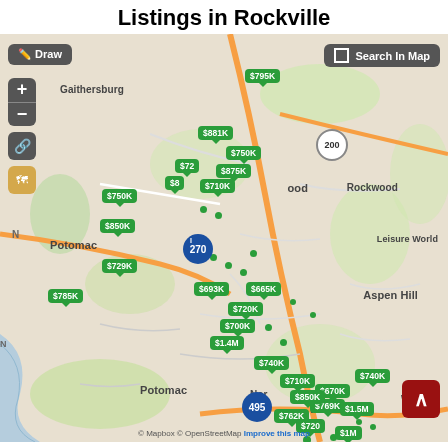Listings in Rockville
[Figure (map): Interactive map showing real estate listings in Rockville, MD area with green price label markers. Labels include $795K, $881K, $750K, $875K, $710K, $72x, $8x, $750K, $850K, $729K, $785K, $693K, $665K, $720K, $700K, $1.4M, $740K, $710K, $670K, $740K, $769K, $850K, $762K, $1.5M, $720x, $1M. Areas shown: Gaithersburg, Potomac, Rockwood, Aspen Hill, North Bethesda, Leisure World, Wheaton, Potomac. Roads: I-270, I-495, Route 200. Map controls: Draw, +/-, link, layers icons, Search In Map checkbox. Attribution: Mapbox, OpenStreetMap.]